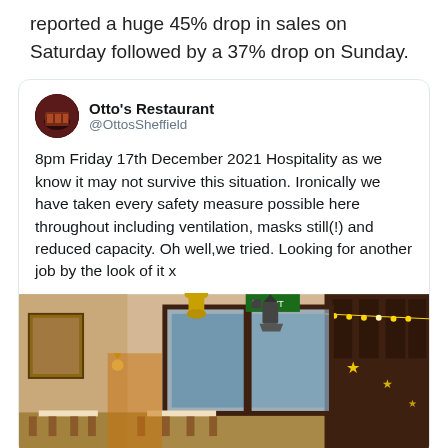reported a huge 45% drop in sales on Saturday followed by a 37% drop on Sunday.
Otto's Restaurant @OttosSheffield
8pm Friday 17th December 2021 Hospitality as we know it may not survive this situation. Ironically we have taken every safety measure possible here throughout including ventilation, masks still(!) and reduced capacity. Oh well,we tried. Looking for another job by the look of it x
[Figure (photo): Interior of Otto's Restaurant showing dining tables, wooden panelling, decorative lantern lighting, and Christmas lights visible through the windows.]